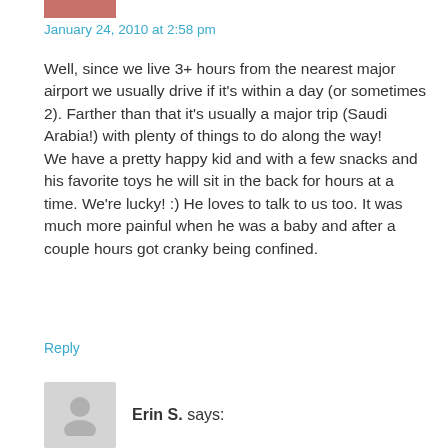[Figure (photo): Partial avatar image at top, appears to be a cropped photo with reddish-brown tones]
January 24, 2010 at 2:58 pm
Well, since we live 3+ hours from the nearest major airport we usually drive if it's within a day (or sometimes 2). Farther than that it's usually a major trip (Saudi Arabia!) with plenty of things to do along the way!
We have a pretty happy kid and with a few snacks and his favorite toys he will sit in the back for hours at a time. We're lucky! :) He loves to talk to us too. It was much more painful when he was a baby and after a couple hours got cranky being confined.
Reply
[Figure (illustration): Generic grey avatar placeholder icon showing a person silhouette]
Erin S. says: